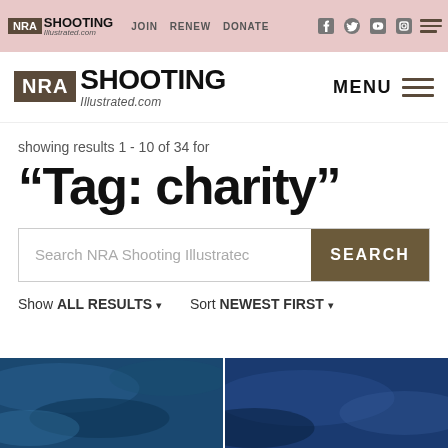NRA SHOOTING Illustrated.com | JOIN RENEW DONATE
[Figure (logo): NRA Shooting Illustrated logo with menu button]
showing results 1 - 10 of 34 for
“Tag: charity”
Search NRA Shooting Illustrated
Show ALL RESULTS ▾  Sort NEWEST FIRST ▾
[Figure (photo): Blue textured background image split into two panels at the bottom of the page]